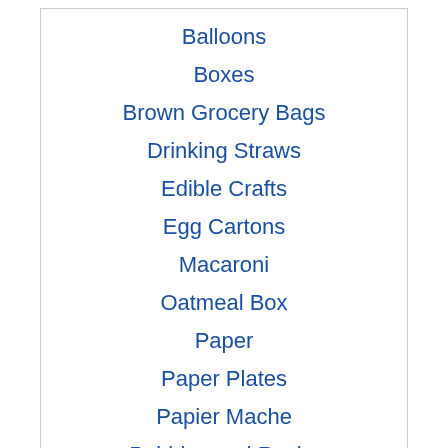Balloons
Boxes
Brown Grocery Bags
Drinking Straws
Edible Crafts
Egg Cartons
Macaroni
Oatmeal Box
Paper
Paper Plates
Papier Mache
Pebbles and Rocks
Pine Cones
Plaster